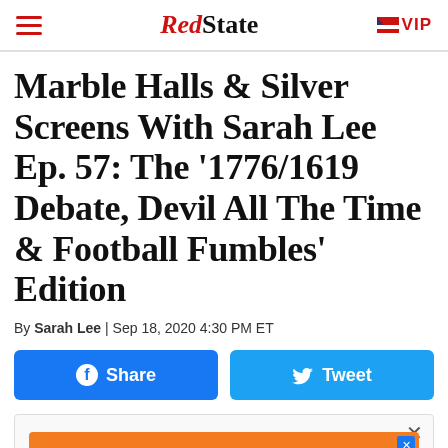RedState | VIP
Marble Halls & Silver Screens With Sarah Lee Ep. 57: The '1776/1619 Debate, Devil All The Time & Football Fumbles' Edition
By Sarah Lee | Sep 18, 2020 4:30 PM ET
[Figure (other): Facebook Share button and Twitter Tweet button]
[Figure (other): Advertisement banner: CONSERVATIVE ALL DAY LONG.]